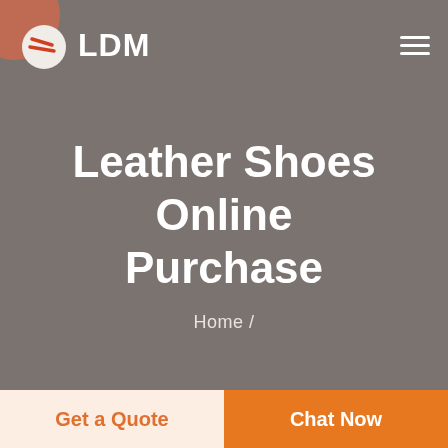[Figure (logo): LDM logo with shield/leaf icon and text LDM in white on gray background with hamburger menu icon]
Leather Shoes Online Purchase
Home /
Get a Quote
Chat Now